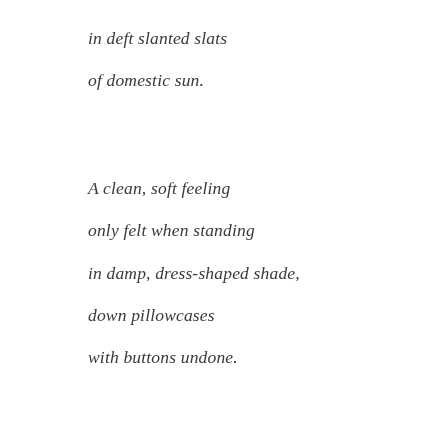in deft slanted slats
of domestic sun.
A clean, soft feeling
only felt when standing
in damp, dress-shaped shade,
down pillowcases
with buttons undone.
A feeling
like bathing